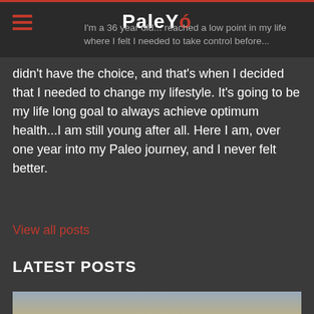PaleYó — I'm a 36 year old... reached a low point in my life where I felt I needed to take control before...
didn't have the choice, and that's when I decided that I needed to change my lifestyle. It's going to be my life long goal to always achieve optimum health...I am still young after all. Here I am, over one year into my Paleo journey, and I never felt better.
View all posts
LATEST POSTS
[Figure (photo): Silhouette of wildflowers and grass against a golden sunset sky, with the sun visible low on the horizon casting warm orange and yellow light.]
Paleo Can Make You Feel Good